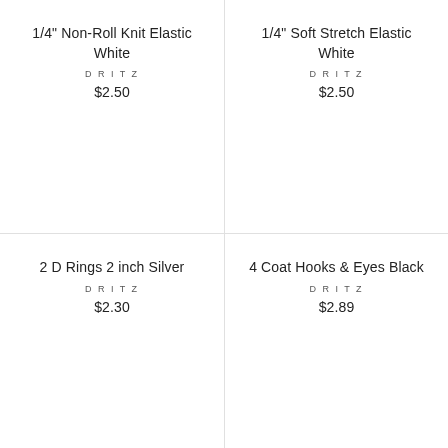1/4" Non-Roll Knit Elastic White
DRITZ
$2.50
1/4" Soft Stretch Elastic White
DRITZ
$2.50
2 D Rings 2 inch Silver
DRITZ
$2.30
4 Coat Hooks & Eyes Black
DRITZ
$2.89